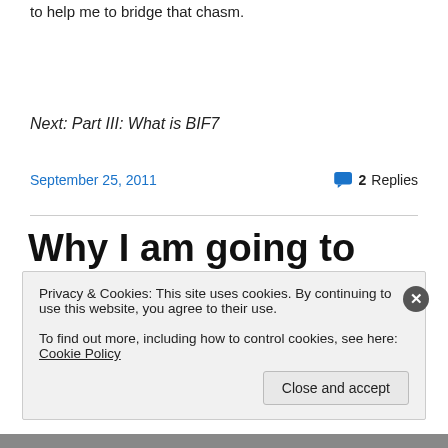to help me to bridge that chasm.
Next: Part III: What is BIF7
September 25, 2011
2 Replies
Why I am going to the
Privacy & Cookies: This site uses cookies. By continuing to use this website, you agree to their use.
To find out more, including how to control cookies, see here: Cookie Policy
Close and accept